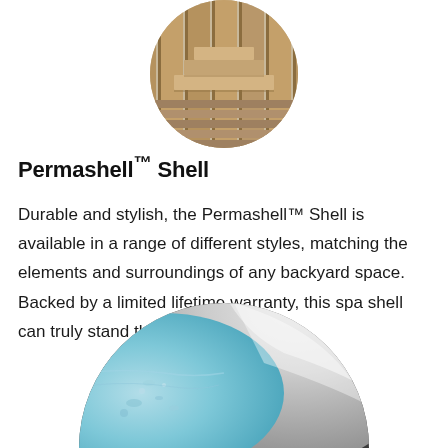[Figure (photo): Circular cropped photo of a wooden hot tub or sauna exterior with cedar wood slats and decking, partially visible]
Permashell™ Shell
Durable and stylish, the Permashell™ Shell is available in a range of different styles, matching the elements and surroundings of any backyard space. Backed by a limited lifetime warranty, this spa shell can truly stand the test of time.
[Figure (photo): Circular cropped close-up photo of a spa shell interior showing blue water with bubbles and a white/gray acrylic shell surface]